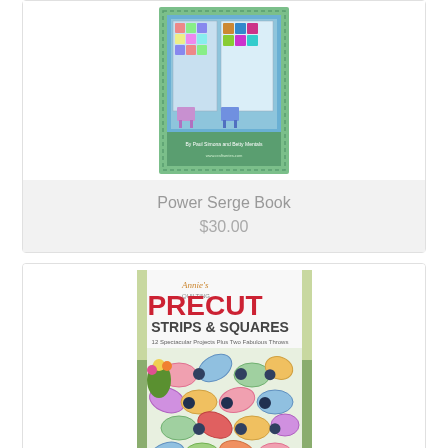[Figure (photo): Book cover for Power Serge Book showing quilts on chairs with teal border]
Power Serge Book
$30.00
[Figure (photo): Book cover for Annie's Precut Strips & Squares showing a colorful quilt with oval and square fabric pieces on a lawn setting]